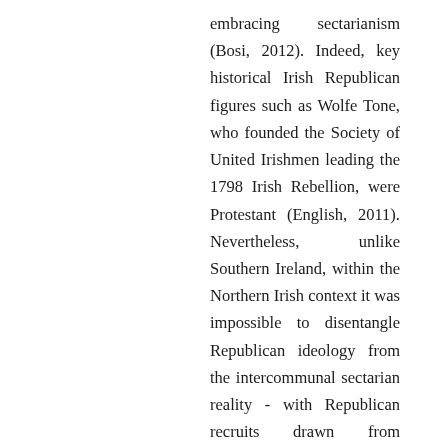embracing sectarianism (Bosi, 2012). Indeed, key historical Irish Republican figures such as Wolfe Tone, who founded the Society of United Irishmen leading the 1798 Irish Rebellion, were Protestant (English, 2011). Nevertheless, unlike Southern Ireland, within the Northern Irish context it was impossible to disentangle Republican ideology from the intercommunal sectarian reality - with Republican recruits drawn from Catholic communities experiencing direct animosity with neighbouring Protestant communities (Nutt & Gray, 1994). Ultimately it was Republicanism's goal to force Irish unity, which in Northern Ireland